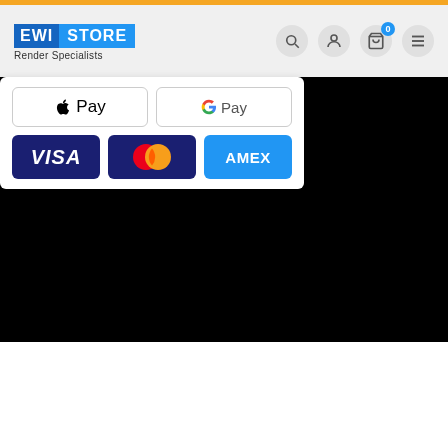[Figure (logo): EWI Store logo with 'Render Specialists' tagline and navigation icons (search, account, cart with badge 0, menu)]
[Figure (screenshot): Payment method icons: Apple Pay, Google Pay, Visa, Mastercard, Amex on white card overlay over black background]
Official Partners
Cookie Settings | Accept All | Reject All
We use cookies on our website to give you the most relevant experience by remembering your preferences and repeat visits. By clicking “Accept All”, you consent to the use of ALL the cookies. However, you may visit “Cookie Settings” to provide a controlled consent.